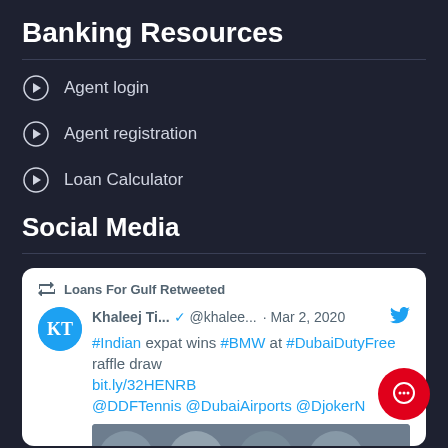Banking Resources
Agent login
Agent registration
Loan Calculator
Social Media
[Figure (screenshot): Embedded tweet card: 'Loans For Gulf Retweeted' - Khaleej Ti... @khalee... · Mar 2, 2020. #Indian expat wins #BMW at #DubaiDutyFree raffle draw bit.ly/32HENRB @DDFTennis @DubaiAirports @DjokerN - with a group photo below.]